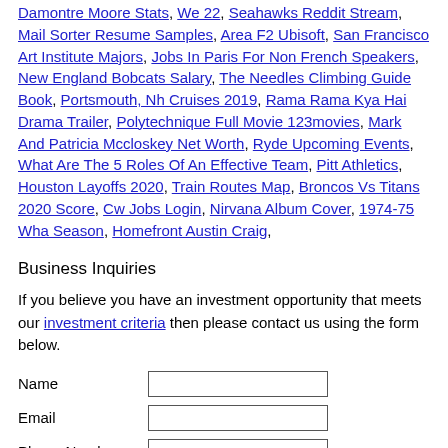Damontre Moore Stats, We 22, Seahawks Reddit Stream, Mail Sorter Resume Samples, Area F2 Ubisoft, San Francisco Art Institute Majors, Jobs In Paris For Non French Speakers, New England Bobcats Salary, The Needles Climbing Guide Book, Portsmouth, Nh Cruises 2019, Rama Rama Kya Hai Drama Trailer, Polytechnique Full Movie 123movies, Mark And Patricia Mccloskey Net Worth, Ryde Upcoming Events, What Are The 5 Roles Of An Effective Team, Pitt Athletics, Houston Layoffs 2020, Train Routes Map, Broncos Vs Titans 2020 Score, Cw Jobs Login, Nirvana Album Cover, 1974-75 Wha Season, Homefront Austin Craig,
Business Inquiries
If you believe you have an investment opportunity that meets our investment criteria then please contact us using the form below.
| Label | Input |
| --- | --- |
| Name |  |
| Email |  |
| Phone Number |  |
| Message |  |